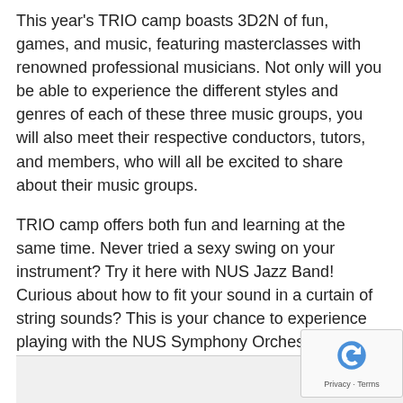This year's TRIO camp boasts 3D2N of fun, games, and music, featuring masterclasses with renowned professional musicians. Not only will you be able to experience the different styles and genres of each of these three music groups, you will also meet their respective conductors, tutors, and members, who will all be excited to share about their music groups.
TRIO camp offers both fun and learning at the same time. Never tried a sexy swing on your instrument? Try it here with NUS Jazz Band! Curious about how to fit your sound in a curtain of string sounds? This is your chance to experience playing with the NUS Symphony Orchestra! Or if you wish to relive the nostalgia of your school band days, you can experience playing in a wind band once again with NUS Wind Symphony.